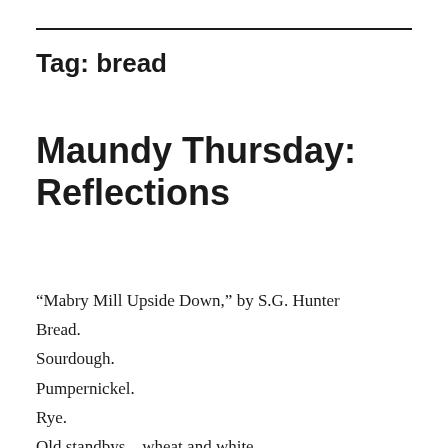Tag: bread
Maundy Thursday: Reflections
“Mabry Mill Upside Down,” by S.G. Hunter
Bread.
Sourdough.
Pumpernickel.
Rye.
Old standbys—wheat and white.
Bread.
The stuff of life.